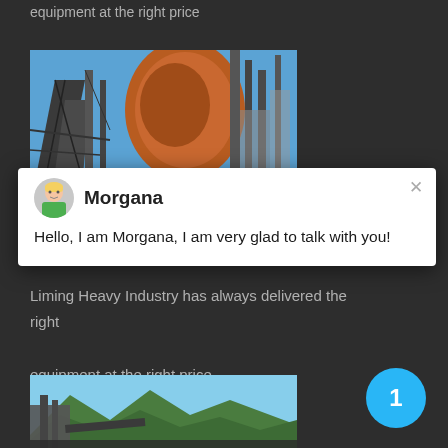equipment at the right price
[Figure (photo): Industrial mining equipment with cranes and conveyor structure against a blue sky]
Morgana
Hello, I am Morgana, I am very glad to talk with you!
Liming Heavy Industry has always delivered the right equipment at the right price
[Figure (photo): Industrial facility with mountains and green hills in background, conveyor belt structures visible]